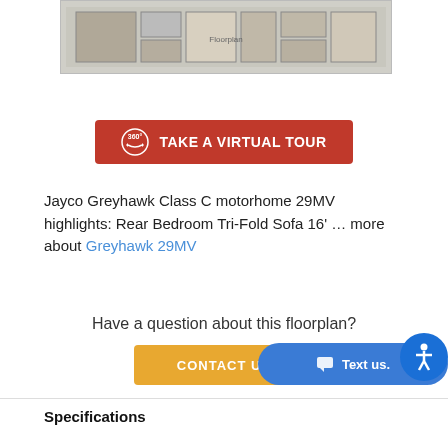[Figure (schematic): Jayco Greyhawk 29MV RV floorplan diagram showing interior layout from above]
[Figure (other): Red button with 360-degree icon: TAKE A VIRTUAL TOUR]
Jayco Greyhawk Class C motorhome 29MV highlights: Rear Bedroom Tri-Fold Sofa 16' … more about Greyhawk 29MV
Have a question about this floorplan?
[Figure (other): Orange CONTACT US button]
Specifications